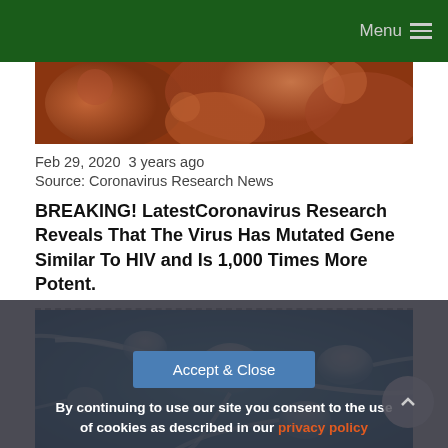Menu
[Figure (photo): Close-up photo of coronavirus particles, reddish-brown tones]
Feb 29, 2020  3 years ago
Source: Coronavirus Research News
BREAKING! LatestCoronavirus Research Reveals That The Virus Has Mutated Gene Similar To HIV and Is 1,000 Times More Potent.
[Figure (photo): Microscopic illustration of sperm cells on a blue background]
By continuing to use our site you consent to the use of cookies as described in our privacy policy